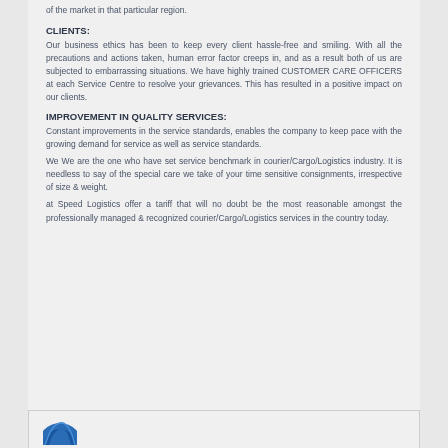of the market in that particular region.
CLIENTS:
Our business ethics has been to keep every client hassle-free and smiling. With all the precautions and actions taken, human error factor creeps in, and as a result both of us are subjected to embarrassing situations. We have highly trained CUSTOMER CARE OFFICERS at each Service Centre to resolve your grievances. This has resulted in a positive impact on our clients.
IMPROVEMENT IN QUALITY SERVICES:
Constant improvements in the service standards, enables the company to keep pace with the growing demand for service as well as service standards.
We We are the one who have set service benchmark in courier/Cargo/Logistics industry. It is needless to say of the special care we take of your time sensitive consignments, irrespective of size & weight.
at Speed Logistics offer a tariff that will no doubt be the most reasonable amongst the professionally managed & recognized courier/Cargo/Logistics services in the country today.
[Figure (logo): Partial circular logo at bottom of page, blue color]